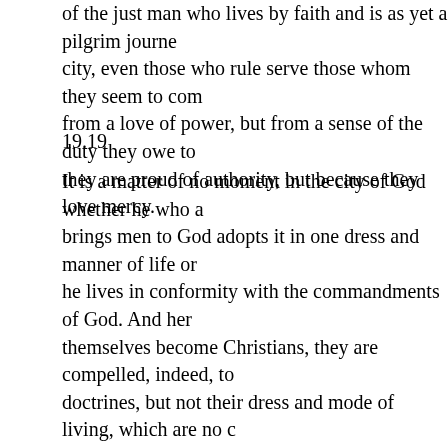of the just man who lives by faith and is as yet a pilgrim journey city, even those who rule serve those whom they seem to com from a love of power, but from a sense of the duty they owe to they are proud of authority, but because they love mercy.
19.19
It is a matter of no moment in the city of God whether he who a brings men to God adopts it in one dress and manner of life or he lives in conformity with the commandments of God. And her themselves become Christians, they are compelled, indeed, to doctrines, but not their dress and mode of living, which are no c that we make no account of that distinction of sects which Varro with the Cynic school, provided always nothing indecent or self to these three modes of life, the contemplative, the active, and so long as a man's faith is preserved, he may choose any of th his eternal interests, yet he must never overlook the claims of t has a right to lead such a life of contemplation as to forget in hi due to his neighbor; nor has any man a right to be so immerse neglect the contemplation of God. The charm of leisure must no mind, but the investigation or discovery of truth, that thus every attainments without grudging that others do the same. And, in a honors or power of this life we should covet, since all things un but we should aim at using our position and influence, if these h